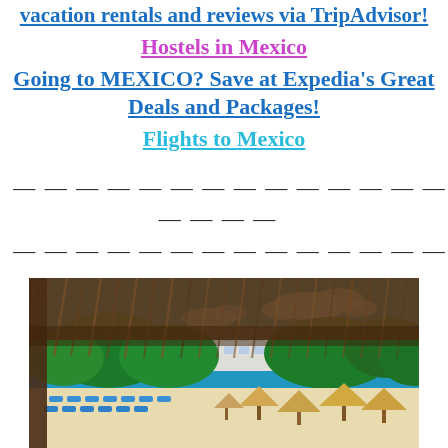vacation rentals and reviews via TripAdvisor!
Hostels in Mexico
Going to MEXICO? Save at Expedia's Great Deals and Packages!
Flights to Mexico
— — — — — — — — — — — — — — — — — — — — — — — — — — — — —
[Figure (photo): Aerial view of a Mexican beach resort with palapa-style thatched roof in foreground, white sandy beach with blue lounge chairs and thatched hut umbrellas, tropical greenery and hotel building in background under bright blue sky with white clouds.]